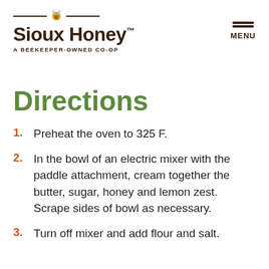Sioux Honey™ A BEEKEEPER-OWNED CO-OP | MENU
Directions
Preheat the oven to 325 F.
In the bowl of an electric mixer with the paddle attachment, cream together the butter, sugar, honey and lemon zest. Scrape sides of bowl as necessary.
Turn off mixer and add flour and salt.